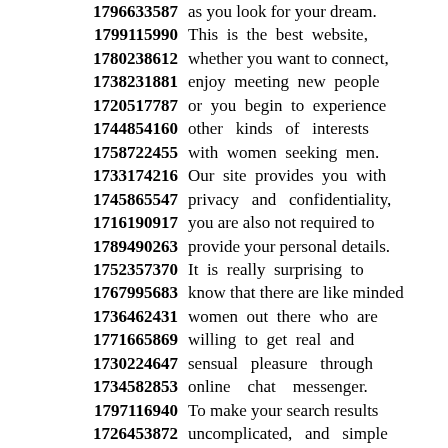1796633587 as you look for your dream.
1799115990 This is the best website,
1780238612 whether you want to connect,
1738231881 enjoy meeting new people
1720517787 or you begin to experience
1744854160 other kinds of interests
1758722455 with women seeking men.
1733174216 Our site provides you with
1745865547 privacy and confidentiality,
1716190917 you are also not required to
1789490263 provide your personal details.
1752357370 It is really surprising to
1767995683 know that there are like minded
1736462431 women out there who are
1771665869 willing to get real and
1730224647 sensual pleasure through
1734582853 online chat messenger.
1797116940 To make your search results
1726453872 uncomplicated, and simple
1784833675 system designed for women
1712404684 looking for single men,
1779767774 you like on a daily basis.
1739112273
1751709230 You don't need to come up with
1737138652 important words for you to
1741881963 ...